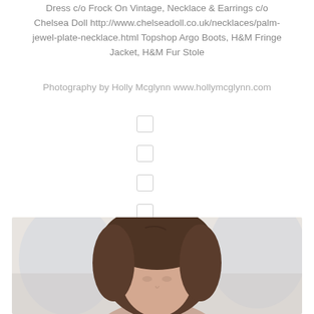Dress c/o Frock On Vintage, Necklace & Earrings c/o Chelsea Doll http://www.chelseadoll.co.uk/necklaces/palm-jewel-plate-necklace.html Topshop Argo Boots, H&M Fringe Jacket, H&M Fur Stole
Photography by Holly Mcglynn www.hollymcglynn.com
[Figure (photo): Close-up photo of a woman with dark brown hair, photographed from above the shoulders. Background is blurred light blue/white.]